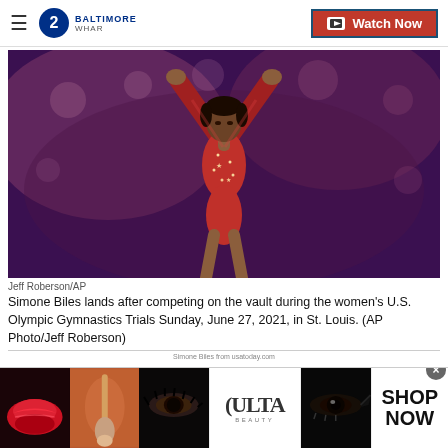2 BALTIMORE WHAR | Watch Now
[Figure (photo): Simone Biles in a red sparkly gymnastics leotard with arms raised above her head, competing at the women's U.S. Olympic Gymnastics Trials]
Jeff Roberson/AP
Simone Biles lands after competing on the vault during the women's U.S. Olympic Gymnastics Trials Sunday, June 27, 2021, in St. Louis. (AP Photo/Jeff Roberson)
[Figure (photo): Ulta Beauty advertisement banner showing makeup products and faces with dramatic eye makeup, with SHOP NOW call to action]